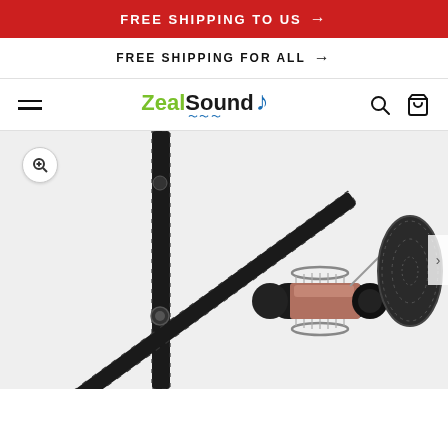FREE SHIPPING TO US →
FREE SHIPPING FOR ALL →
[Figure (logo): ZealSound logo with musical note and wave underline]
[Figure (photo): Microphone with boom arm stand and pop filter on white background — ZealSound product photo]